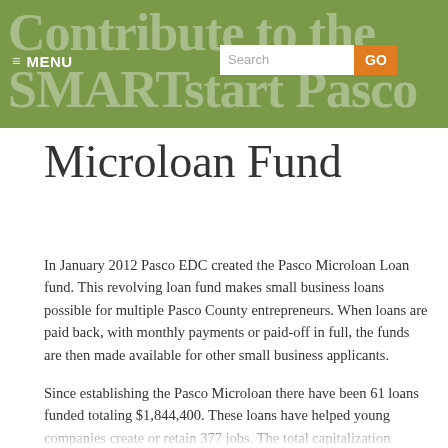Contribute to the SMARTstart Pasco Microloan Fund
Microloan Fund
In January 2012 Pasco EDC created the Pasco Microloan Loan fund. This revolving loan fund makes small business loans possible for multiple Pasco County entrepreneurs. When loans are paid back, with monthly payments or paid-off in full, the funds are then made available for other small business applicants.
Since establishing the Pasco Microloan there have been 61 loans funded totaling $1,844,400. These loans have helped young companies create or retain 377 jobs. The total capitalization ($1,289,000) is very close to being revolved and 27 loans have already been paid off, one replaced by